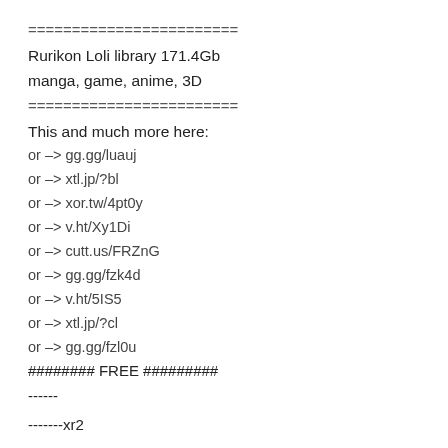========================
Rurikon Loli library 171.4Gb
manga, game, anime, 3D
========================
This and much more here:
or -> gg.gg/luauj
or -> xtl.jp/?bl
or -> xor.tw/4pt0y
or -> v.ht/Xy1Di
or -> cutt.us/FRZnG
or -> gg.gg/fzk4d
or -> v.ht/5IS5
or -> xtl.jp/?cl
or -> gg.gg/fzl0u
######## FREE #########
------
-------xr2